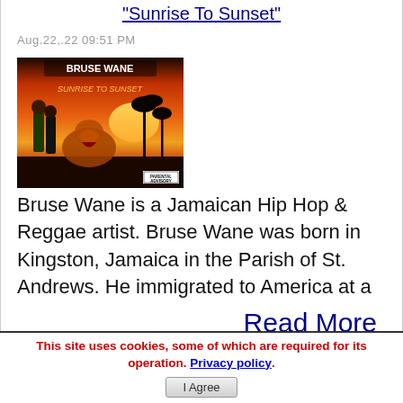"Sunrise To Sunset"
Aug.22,.22 09:51 PM
[Figure (photo): Album cover art for 'Sunrise To Sunset' by Bruse Wane, showing a tiger roaring in front of a sunset backdrop with figures in the background.]
Bruse Wane is a Jamaican Hip Hop & Reggae artist. Bruse Wane was born in Kingston, Jamaica in the Parish of St. Andrews. He immigrated to America at a
Read More
This site uses cookies, some of which are required for its operation. Privacy policy.